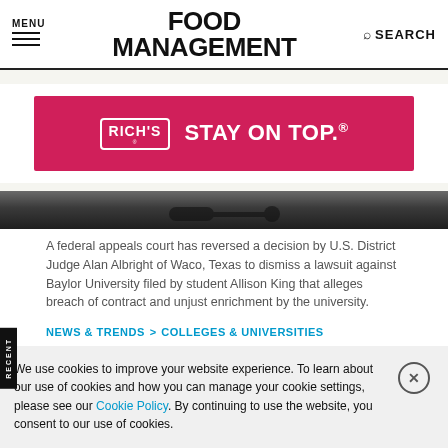MENU | FOOD MANAGEMENT | SEARCH
[Figure (illustration): Rich's advertisement banner with crimson background, Rich's logo in white box, text STAY ON TOP. with registered trademark symbol]
[Figure (photo): Dark photo strip showing what appears to be a gavel or court-related image]
A federal appeals court has reversed a decision by U.S. District Judge Alan Albright of Waco, Texas to dismiss a lawsuit against Baylor University filed by student Allison King that alleges breach of contract and unjust enrichment by the university.
NEWS & TRENDS > COLLEGES & UNIVERSITIES
5 things: Appeals court reinstates
We use cookies to improve your website experience. To learn about our use of cookies and how you can manage your cookie settings, please see our Cookie Policy. By continuing to use the website, you consent to our use of cookies.